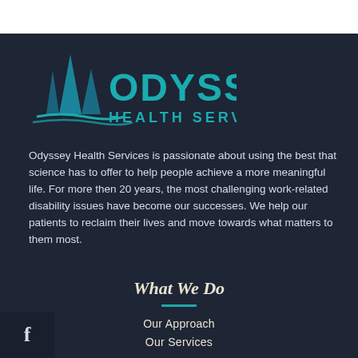[Figure (logo): Odyssey Health Services logo: sailboats icon in dark teal/blue with 'ODYSSEY' in large teal letters and 'HEALTH SERVICES' in smaller teal letters below]
Odyssey Health Services is passionate about using the best that science has to offer to help people achieve a more meaningful life. For more then 20 years, the most challenging work-related disability issues have become our successes. We help our patients to reclaim their lives and move towards what matters to them most.
What We Do
Our Approach
Our Services